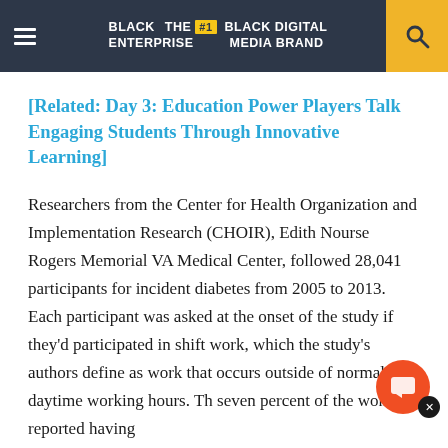BLACK ENTERPRISE — THE #1 BLACK DIGITAL MEDIA BRAND
[Related: Day 3: Education Power Players Talk Engaging Students Through Innovative Learning]
Researchers from the Center for Health Organization and Implementation Research (CHOIR), Edith Nourse Rogers Memorial VA Medical Center, followed 28,041 participants for incident diabetes from 2005 to 2013. Each participant was asked at the onset of the study if they'd participated in shift work, which the study's authors define as work that occurs outside of normal daytime working hours. Th... seven percent of the women reported having